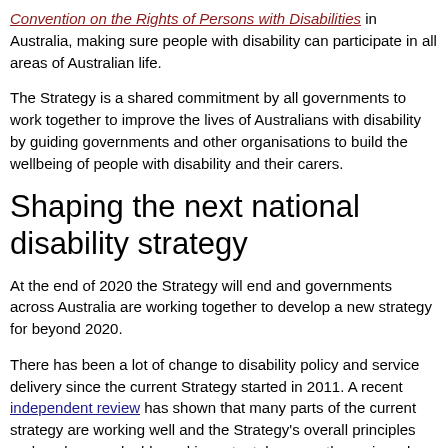Convention on the Rights of Persons with Disabilities in Australia, making sure people with disability can participate in all areas of Australian life.
The Strategy is a shared commitment by all governments to work together to improve the lives of Australians with disability by guiding governments and other organisations to build the wellbeing of people with disability and their carers.
Shaping the next national disability strategy
At the end of 2020 the Strategy will end and governments across Australia are working together to develop a new strategy for beyond 2020.
There has been a lot of change to disability policy and service delivery since the current Strategy started in 2011. A recent independent review has shown that many parts of the current strategy are working well and the Strategy's overall principles and goals are valuable and important, however the review also showed there are still areas for improvement.